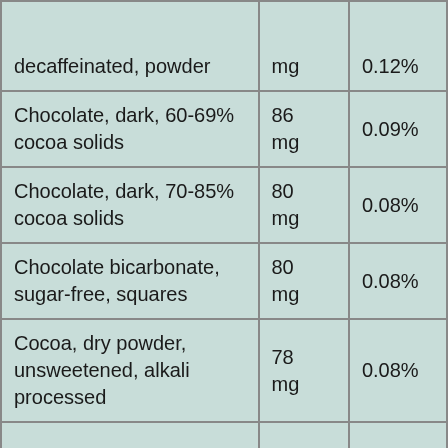| Food | Amount | % DV |
| --- | --- | --- |
| [Coffee, brewed from grounds, prepared with tap water,] decaffeinated, powder | mg | 0.12% |
| Chocolate, dark, 60-69% cocoa solids | 86 mg | 0.09% |
| Chocolate, dark, 70-85% cocoa solids | 80 mg | 0.08% |
| Chocolate bicarbonate, sugar-free, squares | 80 mg | 0.08% |
| Cocoa, dry powder, unsweetened, alkali processed | 78 mg | 0.08% |
| ... |  |  |